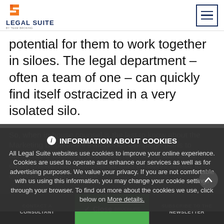LEGAL SUITE
potential for them to work together in siloes. The legal department – often a team of one – can quickly find itself ostracized in a very isolated silo.
So, when in-house counsel is the last to know about the Marketing Department's ambitious campaign plans to attract more customer and boost revenue, which could easily involve risks, compliance from proactive advice to corrective action corrector
INFORMATION ABOUT COOKIES
All Legal Suite websites use cookies to improve your online experience. Cookies are used to operate and enhance our services as well as for advertising purposes. We value your privacy. If you are not comfortable with us using this information, you may change your cookie settings through your browser. To find out more about the cookies we use, click below on More details.
CONTACT A CONSULTANT | BROCHURE | SUBSCRIBE TO THE NEWSLETTER